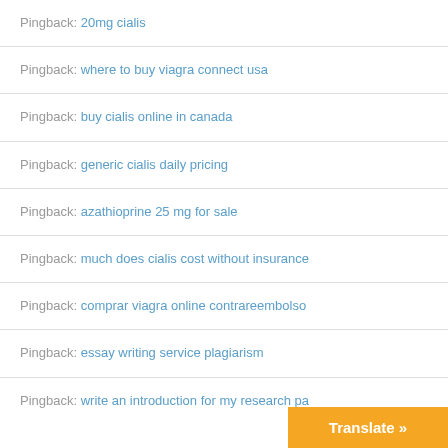Pingback: 20mg cialis
Pingback: where to buy viagra connect usa
Pingback: buy cialis online in canada
Pingback: generic cialis daily pricing
Pingback: azathioprine 25 mg for sale
Pingback: much does cialis cost without insurance
Pingback: comprar viagra online contrareembolso
Pingback: essay writing service plagiarism
Pingback: write an introduction for my research pa…